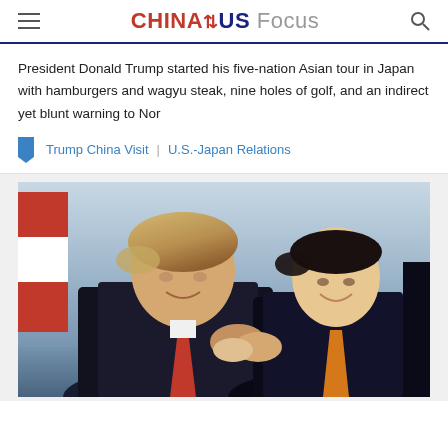CHINA US Focus
President Donald Trump started his five-nation Asian tour in Japan with hamburgers and wagyu steak, nine holes of golf, and an indirect yet blunt warning to Nor
Trump China Visit | U.S.-Japan Relations
[Figure (photo): Two men in dark suits greeting each other by holding hands, with a red and white flag visible in the background. Appears to be President Trump and Japanese Prime Minister Abe.]